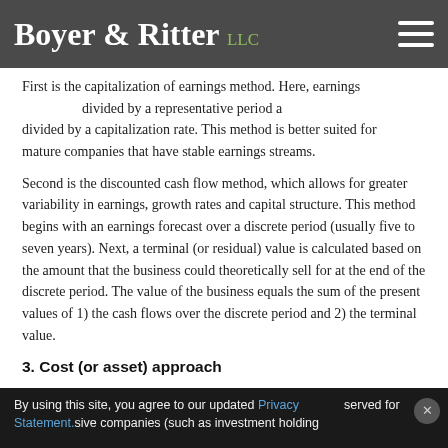Boyer & Ritter LLC
First is the capitalization of earnings method. Here, earnings are divided by a representative period and divided by a capitalization rate. This method is better suited for mature companies that have stable earnings streams.
Second is the discounted cash flow method, which allows for greater variability in earnings, growth rates and capital structure. This method begins with an earnings forecast over a discrete period (usually five to seven years). Next, a terminal (or residual) value is calculated based on the amount that the business could theoretically sell for at the end of the discrete period. The value of the business equals the sum of the present values of 1) the cash flows over the discrete period and 2) the terminal value.
3. Cost (or asset) approach
This technique requires the valuator to establish the market value of all the company's assets and liabilities. The identification and valuation of intangibles and unreported items is the most
By using this site, you agree to our updated Privacy Statement. sive companies (such as investment holding